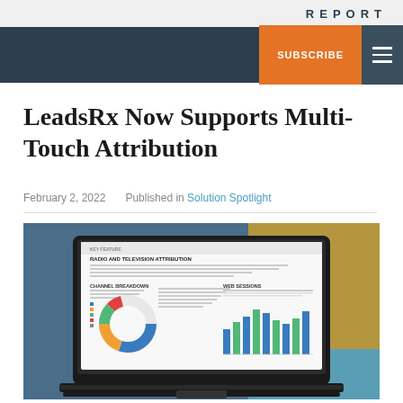REPORT
SUBSCRIBE
LeadsRx Now Supports Multi-Touch Attribution
February 2, 2022    Published in Solution Spotlight
[Figure (screenshot): Screenshot of a laptop displaying a LeadsRx radio and television attribution report dashboard, showing a donut chart under 'Channel Breakdown' and a bar chart under 'Web Sessions']